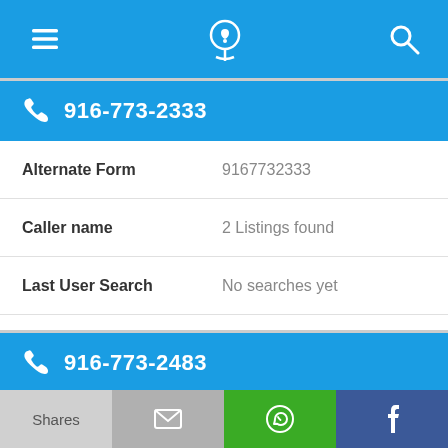[Figure (screenshot): Top navigation bar with hamburger menu icon, phone/location icon, and search icon on blue background]
916-773-2333
| Alternate Form | 9167732333 |
| Caller name | 2 Listings found |
| Last User Search | No searches yet |
| Comments |  |
916-773-2483
[Figure (screenshot): Bottom share bar with Shares label, email icon, WhatsApp icon, and Facebook icon]